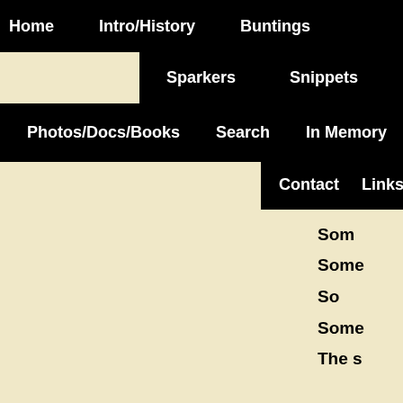Home  Intro/History  Buntings
Sparkers  Snippets
Photos/Docs/Books  Search  In Memory
Contact  Links
imple DIT
T
A
As w
God
Som
Some
So
Some
The s